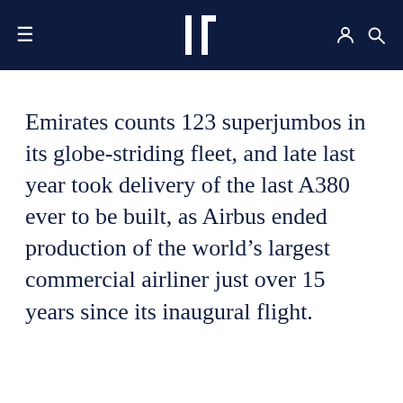Navigation bar with hamburger menu, logo, user icon, and search icon
Emirates counts 123 superjumbos in its globe-striding fleet, and late last year took delivery of the last A380 ever to be built, as Airbus ended production of the world’s largest commercial airliner just over 15 years since its inaugural flight.